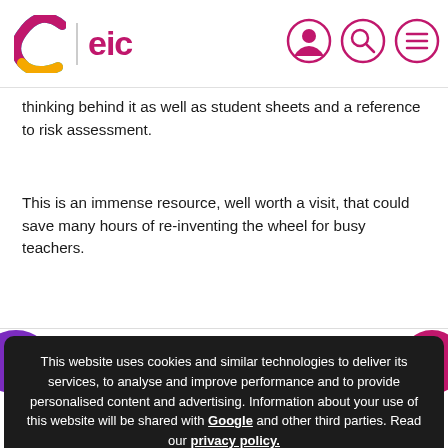C | eic
thinking behind it as well as student sheets and a reference to risk assessment.
This is an immense resource, well worth a visit, that could save many hours of re-inventing the wheel for busy teachers.
This website uses cookies and similar technologies to deliver its services, to analyse and improve performance and to provide personalised content and advertising. Information about your use of this website will be shared with Google and other third parties. Read our privacy policy.